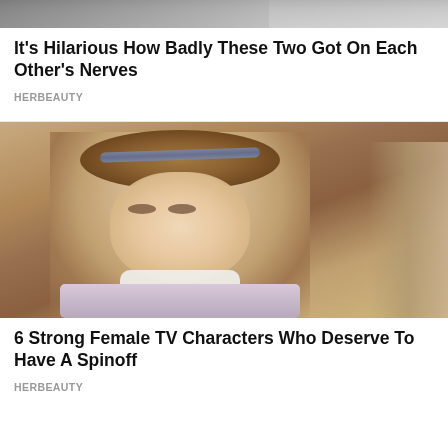[Figure (photo): Partial top portion of a photo showing two people, cropped at the top of the page]
It's Hilarious How Badly These Two Got On Each Other's Nerves
HERBEAUTY
[Figure (photo): A young girl with shoulder-length brown hair wearing a blue headband and a light purple/lavender knit turtleneck sweater, looking slightly to the side with a neutral expression]
6 Strong Female TV Characters Who Deserve To Have A Spinoff
HERBEAUTY